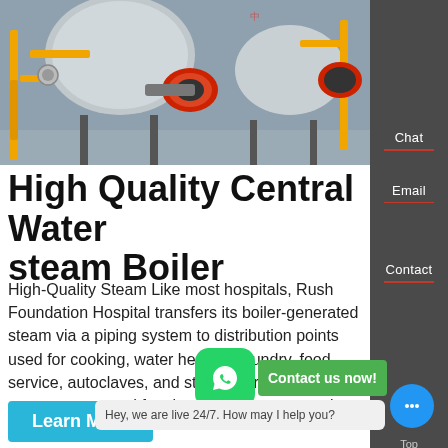[Figure (photo): Industrial steam boilers with yellow piping, red burners, in a factory/hospital boiler room]
High Quality Central Water steam Boiler
High-Quality Steam Like most hospitals, Rush Foundation Hospital transfers its boiler-generated steam via a piping system to distribution points used for cooking, water heating, laundry, food service, autoclaves, and steam sterilizers in the surgery area used for cleaning instruments prior t
[Figure (other): WhatsApp green icon bubble]
Contact us now!
Hey, we are live 24/7. How may I help you?
Chat
Email
Contact
Top